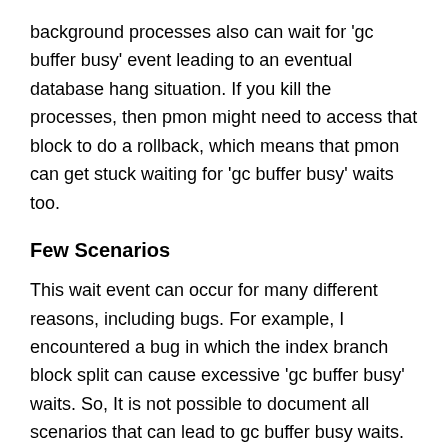background processes also can wait for 'gc buffer busy' event leading to an eventual database hang situation. If you kill the processes, then pmon might need to access that block to do a rollback, which means that pmon can get stuck waiting for 'gc buffer busy' waits too.
Few Scenarios
This wait event can occur for many different reasons, including bugs. For example, I encountered a bug in which the index branch block split can cause excessive 'gc buffer busy' waits. So, It is not possible to document all scenarios that can lead to gc buffer busy waits. But, it is worth exploring few most common scenarios, and then discuss a mitigation plans for those scenarios. The methods discussed here will be helpful to understand which types of blocks are involved in this issue too.